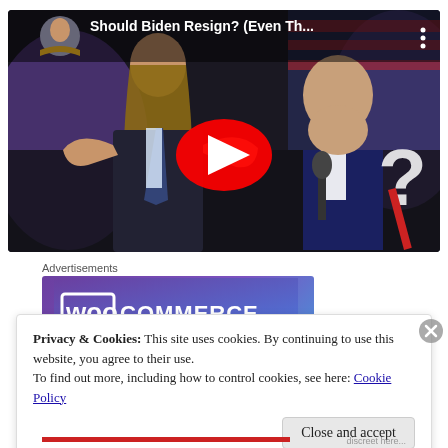[Figure (screenshot): YouTube video thumbnail showing a long-haired man in a suit shrugging beside a figure bowing at a microphone. Title reads: 'Should Biden Resign? (Even Th...' with YouTube play button overlay and channel avatar in top left.]
Advertisements
[Figure (logo): WooCommerce advertisement banner with purple gradient background and WooCommerce logo text in white.]
Privacy & Cookies: This site uses cookies. By continuing to use this website, you agree to their use.
To find out more, including how to control cookies, see here: Cookie Policy
Close and accept